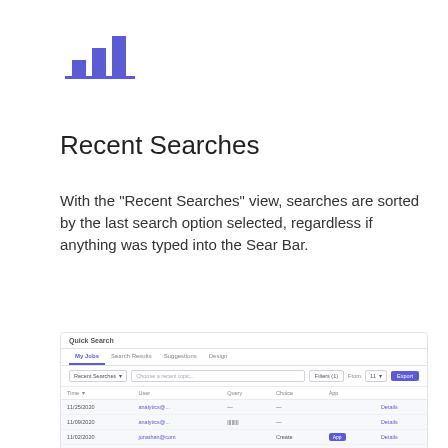[Figure (logo): Purple bar chart icon logo]
Recent Searches
With the "Recent Searches" view, searches are sorted by the last search option selected, regardless if anything was typed into the Sear Bar.
[Figure (screenshot): Screenshot of Quick Search interface showing Recent Searches view with tabs (My Jobs, Search Results, Suggestions, Design), toolbar with Recent Searches dropdown, filter input, Filters button, date range, and Export button. Table shows columns: Time, User, Query, Choice, App with three data rows showing dates like 11/25/2020, user email links, and Details links. Last row has a purple badge.]
Selecting on the "Details" link will allow you to view additional information like the user's prior search or time spent searching.